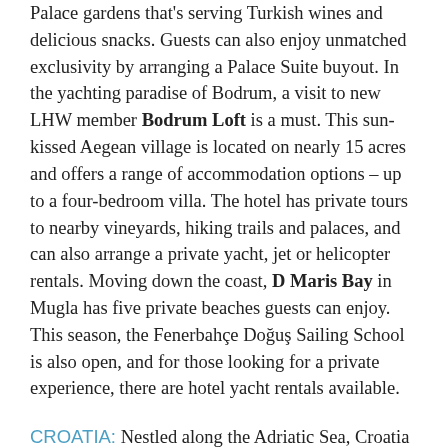Palace gardens that's serving Turkish wines and delicious snacks. Guests can also enjoy unmatched exclusivity by arranging a Palace Suite buyout. In the yachting paradise of Bodrum, a visit to new LHW member Bodrum Loft is a must. This sun-kissed Aegean village is located on nearly 15 acres and offers a range of accommodation options – up to a four-bedroom villa. The hotel has private tours to nearby vineyards, hiking trails and palaces, and can also arrange a private yacht, jet or helicopter rentals. Moving down the coast, D Maris Bay in Mugla has five private beaches guests can enjoy. This season, the Fenerbahçe Doğuş Sailing School is also open, and for those looking for a private experience, there are hotel yacht rentals available.
CROATIA: Nestled along the Adriatic Sea, Croatia is the perfect mixture of old and new, and LHW's seven hotels are buzzing this season. SUMMER HIGHLIGHTS: In